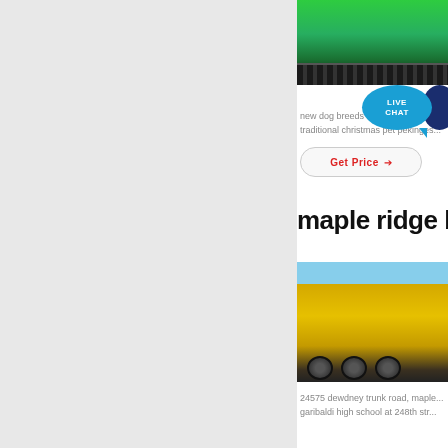[Figure (photo): Green mining/construction machine with tracks, partially visible, cropped at top]
new dog breeds for 2024 list + traditional christmas pet pekinges...
Get Price →
maple ridge bc ac
[Figure (photo): Yellow mobile crushing machine on trailer wheels against blue sky background]
24575 dewdney trunk road, maple... garibaldi high school at 248th str...